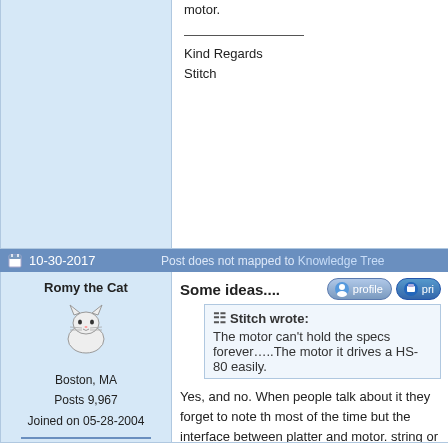motor.
Kind Regards
Stitch
10-30-2017   Post does not mapped to Knowledge Tree
Some ideas....
Romy the Cat
Boston, MA
Posts 9,967
Joined on 05-28-2004
Post #: 84
Post ID: 24522
Reply to: 24518
Stitch wrote:
The motor can't hold the specs forever…..The motor it drives a HS-80 easily.
Yes, and no. When people talk about it they forget to note th most of the time but the interface between platter and motor. string or whatever you use) between the motor and platter is neglected subject. One person loves to have high tension bel another love to have high tension connection between motor motors with a lot of logic in motor drive, other person use su slips over the platter and no brain in motor… there are many generally if you have a very light tension between motor and live longer then you do.
I personally drive my motor VERY light and my belt is dried powder and hands very loosely. Interesting that my belt does platter but run over the indentation at the very top of the plat diameter is smaller. I feel that running a smaller diameter ma